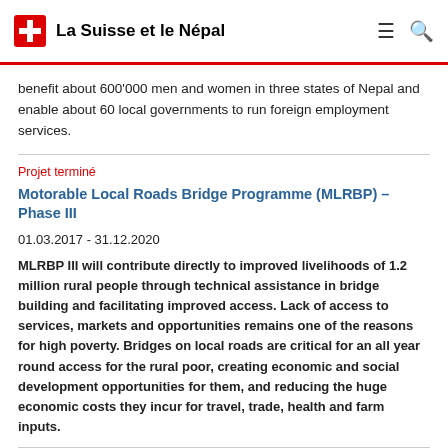La Suisse et le Népal
benefit about 600'000 men and women in three states of Nepal and enable about 60 local governments to run foreign employment services.
Projet terminé
Motorable Local Roads Bridge Programme (MLRBP) – Phase III
01.03.2017 - 31.12.2020
MLRBP III will contribute directly to improved livelihoods of 1.2 million rural people through technical assistance in bridge building and facilitating improved access. Lack of access to services, markets and opportunities remains one of the reasons for high poverty. Bridges on local roads are critical for an all year round access for the rural poor, creating economic and social development opportunities for them, and reducing the huge economic costs they incur for travel, trade, health and farm inputs.